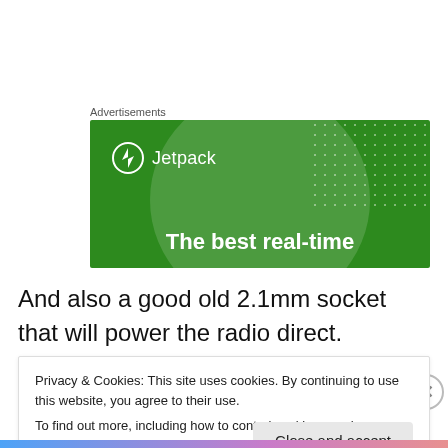Advertisements
[Figure (illustration): Jetpack advertisement banner on green background with logo and headline 'The best real-time']
And also a good old 2.1mm socket that will power the radio direct.
Privacy & Cookies: This site uses cookies. By continuing to use this website, you agree to their use.
To find out more, including how to control cookies, see here: Cookie Policy
Close and accept